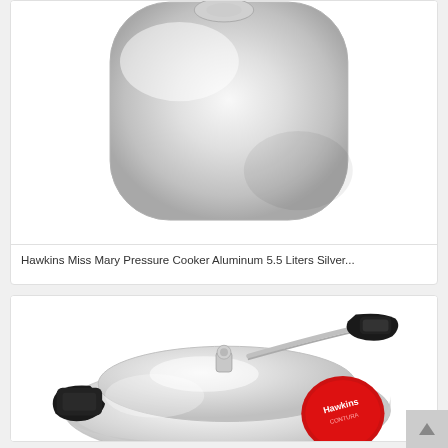[Figure (photo): Hawkins Miss Mary Pressure Cooker aluminum silver colored, viewed from top/side angle, showing the pot body with light silver metallic finish]
Hawkins Miss Mary Pressure Cooker Aluminum 5.5 Liters Silver...
[Figure (photo): Hawkins Contura pressure cooker, silver aluminum body, round bulbous shape, black handle on left, locking lid with safety valve and pressure regulator on top, red Hawkins Contura logo badge on right side]